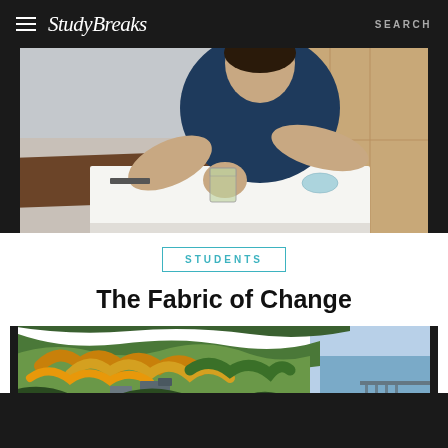Study Breaks  SEARCH
[Figure (photo): Person in dark blue shirt working at a craft table with a measuring cup, white fabric/paper spread on the table, wooden cabinets in background]
STUDENTS
The Fabric of Change
[Figure (photo): Aerial landscape view showing forested hills with autumn foliage in orange, yellow and green, a body of water on the right, and buildings nestled among the trees]